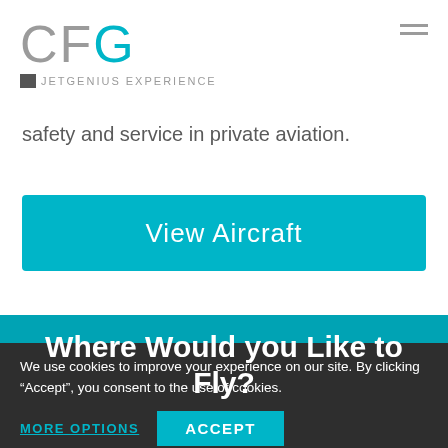[Figure (logo): CFG logo with C and F in gray, G in teal, and 'A JETGENIUS EXPERIENCE' tagline below]
safety and service in private aviation.
View Aircraft
Where Would you Like to Fly?
We use cookies to improve your experience on our site. By clicking “Accept”, you consent to the use of cookies.
MORE OPTIONS
ACCEPT